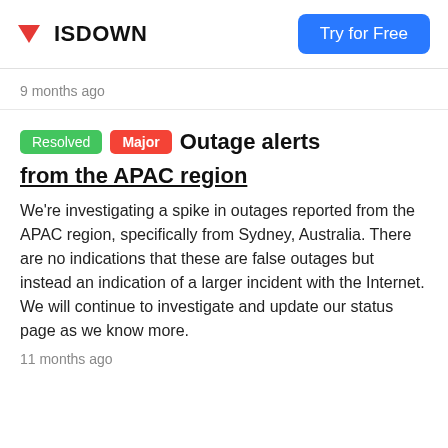ISDOWN  Try for Free
9 months ago
Resolved  Major  Outage alerts from the APAC region
We're investigating a spike in outages reported from the APAC region, specifically from Sydney, Australia. There are no indications that these are false outages but instead an indication of a larger incident with the Internet. We will continue to investigate and update our status page as we know more.
11 months ago